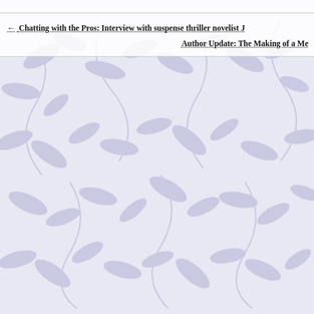← Chatting with the Pros: Interview with suspense thriller novelist J
Author Update: The Making of a Me